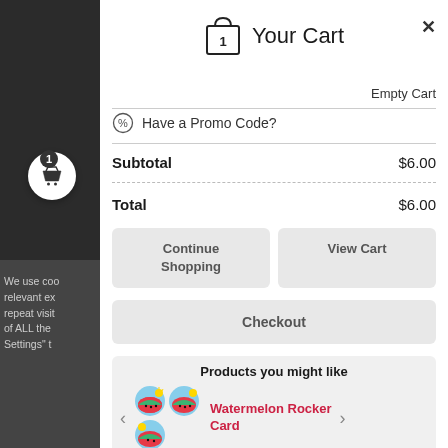Your Cart
Empty Cart
Have a Promo Code?
Subtotal    $6.00
Total    $6.00
Continue Shopping
View Cart
Checkout
Products you might like
Watermelon Rocker Card
We use coo relevant ex repeat visit of ALL the Settings" t
[Figure (illustration): Cart icon with number 1 badge]